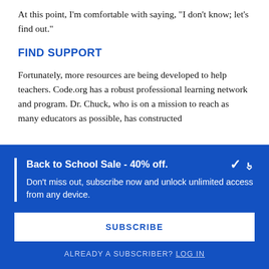At this point, I'm comfortable with saying, "I don't know; let's find out."
FIND SUPPORT
Fortunately, more resources are being developed to help teachers. Code.org has a robust professional learning network and program. Dr. Chuck, who is on a mission to reach as many educators as possible, has constructed
Back to School Sale - 40% off.
Don't miss out, subscribe now and unlock unlimited access from any device.
SUBSCRIBE
ALREADY A SUBSCRIBER? LOG IN